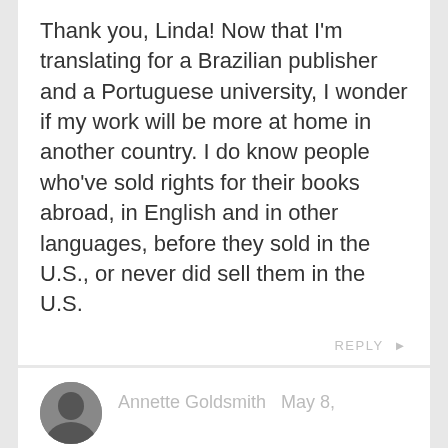Thank you, Linda! Now that I'm translating for a Brazilian publisher and a Portuguese university, I wonder if my work will be more at home in another country. I do know people who've sold rights for their books abroad, in English and in other languages, before they sold in the U.S., or never did sell them in the U.S.
REPLY ▶
Annette Goldsmith  May 8,